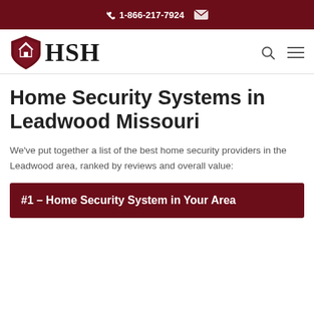1-866-217-7924
[Figure (logo): HSH shield logo with house icon and serif HSH text]
Home Security Systems in Leadwood Missouri
We've put together a list of the best home security providers in the Leadwood area, ranked by reviews and overall value:
#1 – Home Security System in Your Area